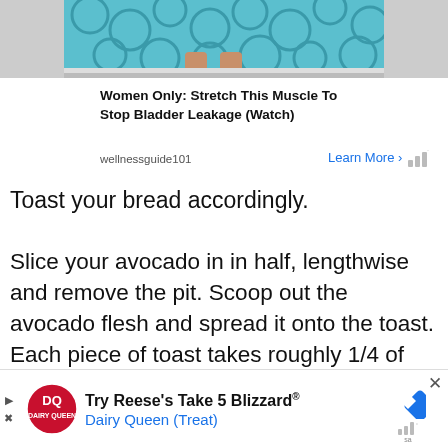[Figure (photo): Top portion of an advertisement showing a person wearing a teal/blue patterned outfit, cropped to show lower body and feet on a light floor. Partial view from a sponsored ad for wellnessguide101.]
Women Only: Stretch This Muscle To Stop Bladder Leakage (Watch)
wellnessguide101   Learn More >
Toast your bread accordingly.
Slice your avocado in in half, lengthwise and remove the pit. Scoop out the avocado flesh and spread it onto the toast. Each piece of toast takes roughly 1/4 of the avocado. Squeeze some fresh lime juice on top of the avocado to prevent it from browning.
[Figure (other): Bottom advertisement banner for Dairy Queen showing DQ logo and text: Try Reese's Take 5 Blizzard® Dairy Queen (Treat), with a blue diamond navigation icon and a close button.]